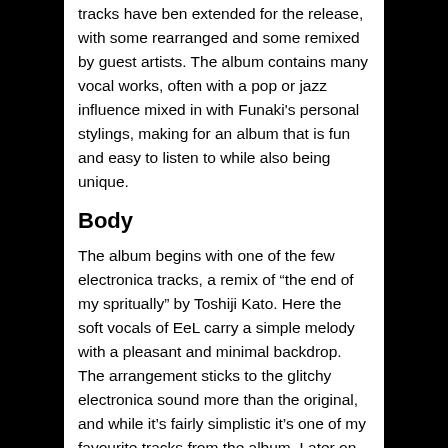tracks have ben extended for the release, with some rearranged and some remixed by guest artists. The album contains many vocal works, often with a pop or jazz influence mixed in with Funaki's personal stylings, making for an album that is fun and easy to listen to while also being unique.
Body
The album begins with one of the few electronica tracks, a remix of “the end of my spritually” by Toshiji Kato. Here the soft vocals of EeL carry a simple melody with a pleasant and minimal backdrop. The arrangement sticks to the glitchy electronica sound more than the original, and while it’s fairly simplistic it’s one of my favourite tracks from the album. Later on Funaki has his hand at Goa trance in “Implantation”, which is a fine track but a bit generic within the genre, and